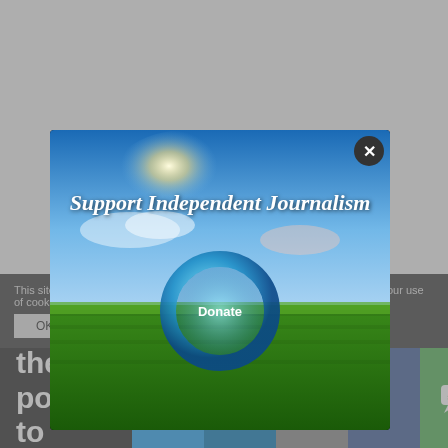say because the testing was conducted more than a year after the incident occurred, the results could be incomplete.
Why it matters: A 2015 study from the S. Geological Survey found that the volumes of water used in fracking, are [partially obscured] in which the [partially obscured] of Blue[partially obscured] an indu[partially obscured] on nea[partially obscured] and 201[partially obscured] ose that drill thousands of feet downward, then turn and run parallel to the surface — required significantly more water to frack than traditional vertical or [partially obscured]
You have the power to inform the
This site uses cookies. By continuing to browse the site, you are agreeing to our use of cookies.
[Figure (screenshot): Support Independent Journalism popup overlay with sky/field background and Donate button with circle icon]
[Figure (infographic): Social sharing bar with Twitter, LinkedIn, link, Facebook, SMS, and Kinja icons on dark background]